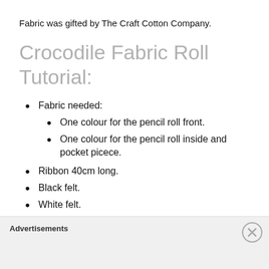Fabric was gifted by The Craft Cotton Company.
Crocodile Fabric Roll Tutorial:
Fabric needed:
One colour for the pencil roll front.
One colour for the pencil roll inside and pocket picece.
Ribbon 40cm long.
Black felt.
White felt.
Assembly:
Advertisements